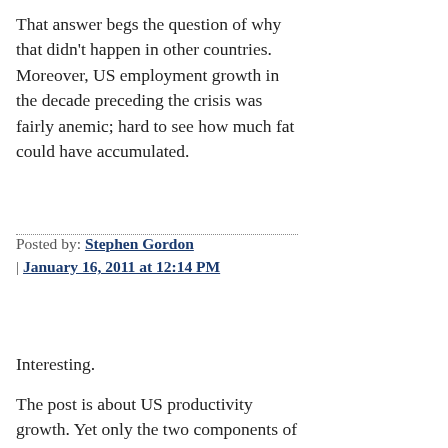That answer begs the question of why that didn't happen in other countries. Moreover, US employment growth in the decade preceding the crisis was fairly anemic; hard to see how much fat could have accumulated.
Posted by: Stephen Gordon | January 16, 2011 at 12:14 PM
Interesting.
The post is about US productivity growth. Yet only the two components of a an aggregate GDP/labour productivity ratio are furnished